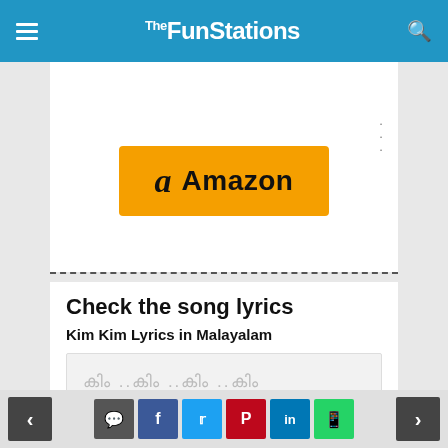TheFunStations
[Figure (other): Amazon advertisement button with orange background, Amazon logo 'a' and text 'Amazon']
Check the song lyrics
Kim Kim Lyrics in Malayalam
കിം ..കിം ..കിം ..കിം
Navigation and social share icons: comment, facebook, twitter, pinterest, linkedin, whatsapp